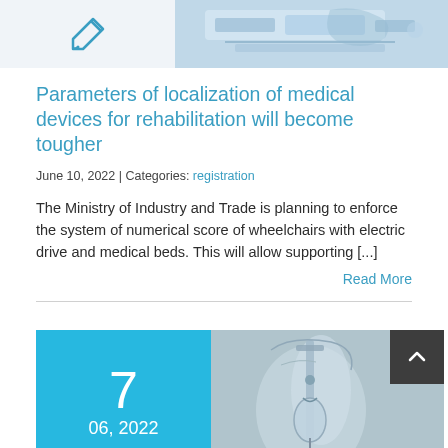[Figure (photo): Top left: pen/writing icon on light gray background; Top right: medical device (wheelchair or bed component) on light blue background]
Parameters of localization of medical devices for rehabilitation will become tougher
June 10, 2022  |  Categories: registration
The Ministry of Industry and Trade is planning to enforce the system of numerical score of wheelchairs with electric drive and medical beds. This will allow supporting [...]
Read More
[Figure (photo): Bottom left: cyan/blue date box showing '7' and '06, 2022'; Bottom right: medical IV drip/infusion equipment photo with dark scroll-to-top button]